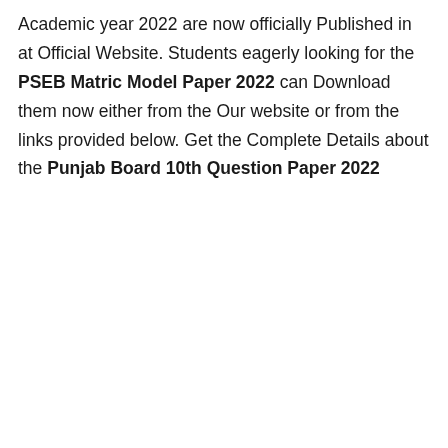Academic year 2022 are now officially Published in at Official Website. Students eagerly looking for the PSEB Matric Model Paper 2022 can Download them now either from the Our website or from the links provided below. Get the Complete Details about the Punjab Board 10th Question Paper 2022